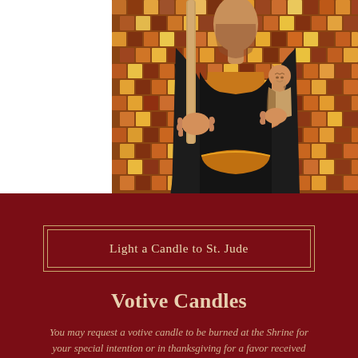[Figure (photo): Close-up of a religious statue of St. Jude holding a staff and a small figure of Jesus on his chest, set against a colorful mosaic tile background in warm earth tones of red, orange, yellow, and gold. The left side of the image is white/blank.]
Light a Candle to St. Jude
Votive Candles
You may request a votive candle to be burned at the Shrine for your special intention or in thanksgiving for a favor received